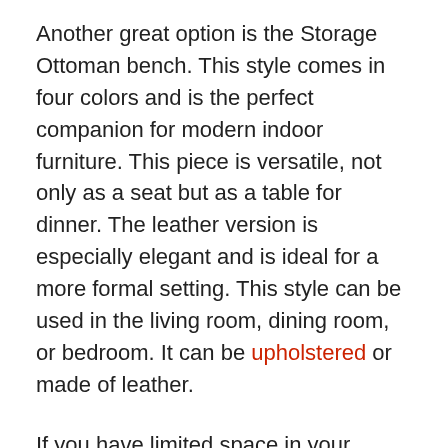Another great option is the Storage Ottoman bench. This style comes in four colors and is the perfect companion for modern indoor furniture. This piece is versatile, not only as a seat but as a table for dinner. The leather version is especially elegant and is ideal for a more formal setting. This style can be used in the living room, dining room, or bedroom. It can be upholstered or made of leather.
If you have limited space in your home, a storage ottoman can double as a useful storage space. It can also serve as a footstool. A storage ottoman can also be a useful addition to your kitchen. Aside from being a functional piece of furniture, it can be a decorative accessory. There are numerous types of ottomans on the market. You can find a unique piece of furniture